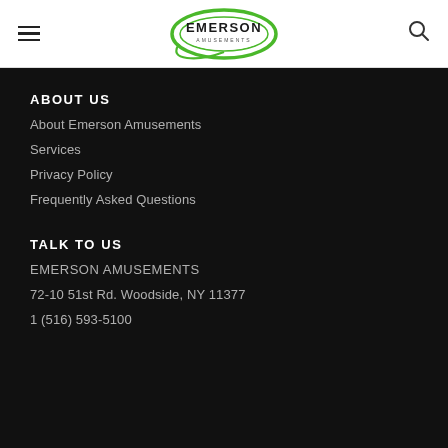[Figure (logo): Emerson Amusements logo — oval green swirl with 'EMERSON' text in center, white background header bar with hamburger menu icon on left and search icon on right]
ABOUT US
About Emerson Amusements
Services
Privacy Policy
Frequently Asked Questions
TALK TO US
EMERSON AMUSEMENTS
72-10 51st Rd. Woodside, NY 11377
1 (516) 593-5100